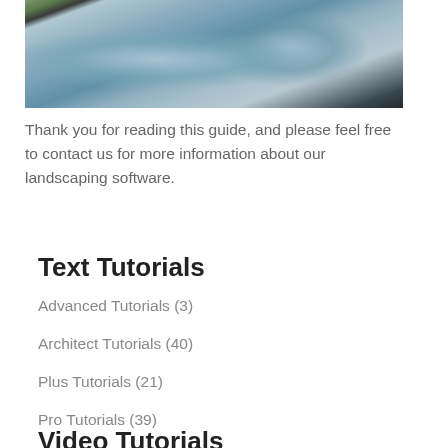[Figure (photo): Aerial/overhead view of a decorative landscaped pool with curved stone edges, water features, and surrounding paved patio area with greenery]
Thank you for reading this guide, and please feel free to contact us for more information about our landscaping software.
Text Tutorials
Advanced Tutorials (3)
Architect Tutorials (40)
Plus Tutorials (21)
Pro Tutorials (39)
Video Tutorials